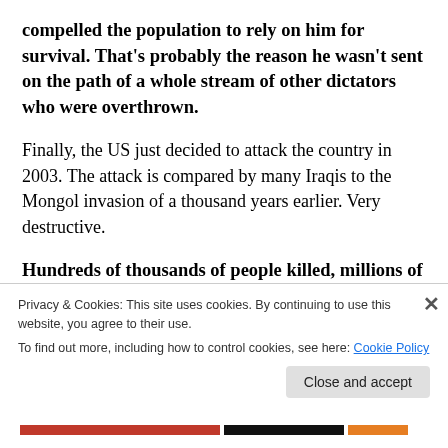compelled the population to rely on him for survival. That's probably the reason he wasn't sent on the path of a whole stream of other dictators who were overthrown.
Finally, the US just decided to attack the country in 2003. The attack is compared by many Iraqis to the Mongol invasion of a thousand years earlier. Very destructive.
Hundreds of thousands of people killed, millions of refugees, millions of other displaced persons, destruction of the centuries-old civic and cultural...
Privacy & Cookies: This site uses cookies. By continuing to use this website, you agree to their use.
To find out more, including how to control cookies, see here: Cookie Policy